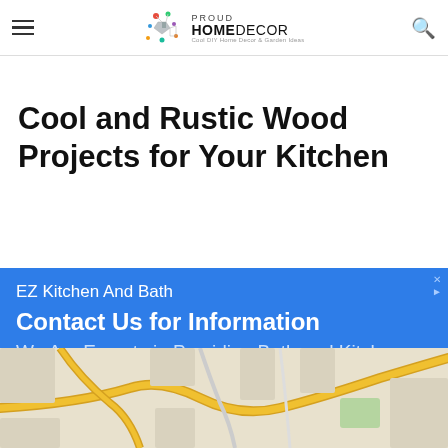Proud Home Decor — Cool DIY Home Decor & Garden Ideas
Cool and Rustic Wood Projects for Your Kitchen
[Figure (infographic): Advertisement banner for EZ Kitchen And Bath with blue background. Text: 'EZ Kitchen And Bath', 'Contact Us for Information', 'We Are Experts in Providing Bath and Kitchen Remodeling Services.']
[Figure (map): Partial map screenshot visible at bottom of page showing road intersections with yellow roads on light background.]